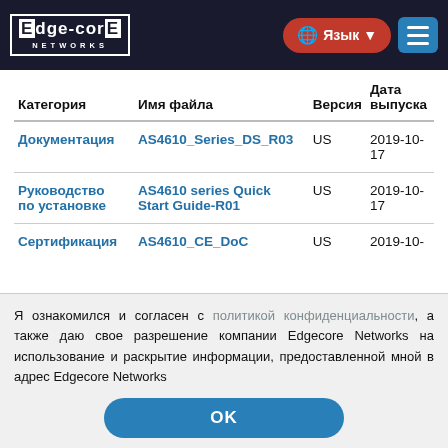Edgecore NETWORKS — Язык ▼ [menu]
| Категория | Имя файла | Версия | Дата выпуска |
| --- | --- | --- | --- |
| Документация | AS4610_Series_DS_R03 | US | 2019-10-17 |
| Руководство по установке | AS4610 series Quick Start Guide-R01 | US | 2019-10-17 |
| Сертификация | AS4610_CE_DoC | US | 2019-10- |
Я ознакомился и согласен с политикой конфиденциальности, а также даю свое разрешение компании Edgecore Networks на использование и раскрытие информации, предоставленной мной в адрес Edgecore Networks